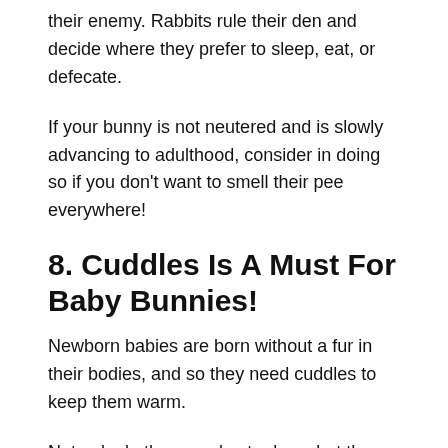their enemy. Rabbits rule their den and decide where they prefer to sleep, eat, or defecate.
If your bunny is not neutered and is slowly advancing to adulthood, consider in doing so if you don't want to smell their pee everywhere!
8. Cuddles Is A Must For Baby Bunnies!
Newborn babies are born without a fur in their bodies, and so they need cuddles to keep them warm.
Not only do they need extra love, but they